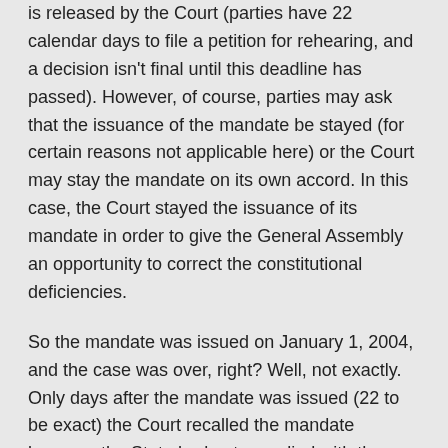is released by the Court (parties have 22 calendar days to file a petition for rehearing, and a decision isn't final until this deadline has passed). However, of course, parties may ask that the issuance of the mandate be stayed (for certain reasons not applicable here) or the Court may stay the mandate on its own accord. In this case, the Court stayed the issuance of its mandate in order to give the General Assembly an opportunity to correct the constitutional deficiencies.
So the mandate was issued on January 1, 2004, and the case was over, right? Well, not exactly. Only days after the mandate was issued (22 to be exact) the Court recalled the mandate because the State had not complied with the 2002 opinion.  By my count, the mandate was either recalled or its issuance stayed due to the State's noncompliance four times from 2004 until 2007 when the final decision declaring the school funding system constitutional was handed down. Throughout this time, special masters were appointed (or re-appointed) by the Court to monitor the State's